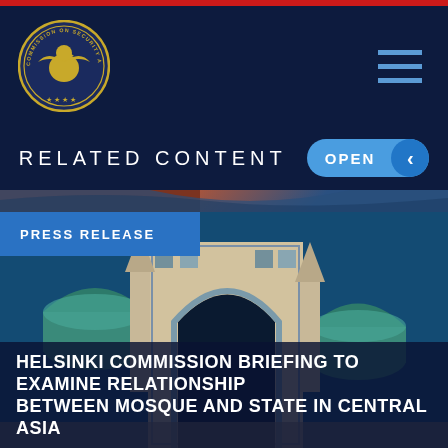[Figure (logo): Commission on Security and Cooperation in Europe seal/logo — gold eagle emblem on circular dark background]
RELATED CONTENT
OPEN
PRESS RELEASE
[Figure (photo): Photograph of Central Asian mosque architecture with ornate arched iwan and blue-tiled domes against a blue sky]
HELSINKI COMMISSION BRIEFING TO EXAMINE RELATIONSHIP BETWEEN MOSQUE AND STATE IN CENTRAL ASIA